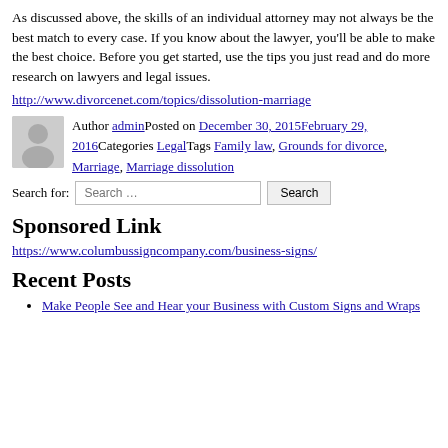As discussed above, the skills of an individual attorney may not always be the best match to every case. If you know about the lawyer, you’ll be able to make the best choice. Before you get started, use the tips you just read and do more research on lawyers and legal issues.
http://www.divorcenet.com/topics/dissolution-marriage
Author adminPosted on December 30, 2015February 29, 2016Categories LegalTags Family law, Grounds for divorce, Marriage, Marriage dissolution
Search for: Search … Search
Sponsored Link
https://www.columbussigncompany.com/business-signs/
Recent Posts
Make People See and Hear your Business with Custom Signs and Wraps